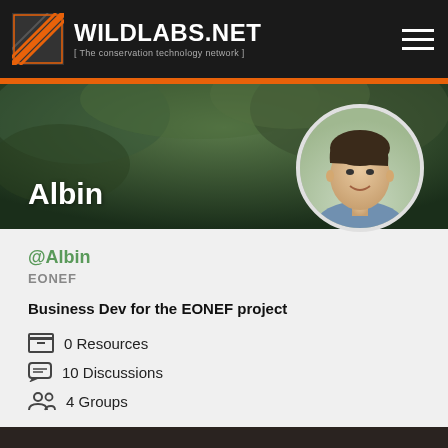WILDLABS.NET [ The conservation technology network ]
[Figure (photo): Profile banner with dark green background showing forest/trees]
Albin
@Albin
EONEF
Business Dev for the EONEF project
0 Resources
10 Discussions
4 Groups